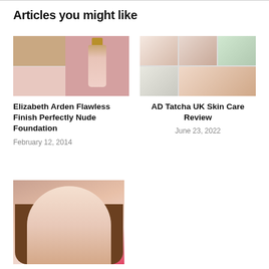Articles you might like
[Figure (photo): Elizabeth Arden makeup products - two-column collage with rose gold and pink tones showing foundation bottle]
Elizabeth Arden Flawless Finish Perfectly Nude Foundation
February 12, 2014
[Figure (photo): AD Tatcha UK skin care review - grid of 6 photos showing woman applying skincare products]
AD Tatcha UK Skin Care Review
June 23, 2022
[Figure (photo): Woman smiling, partially visible at bottom of page, red top, brown hair]